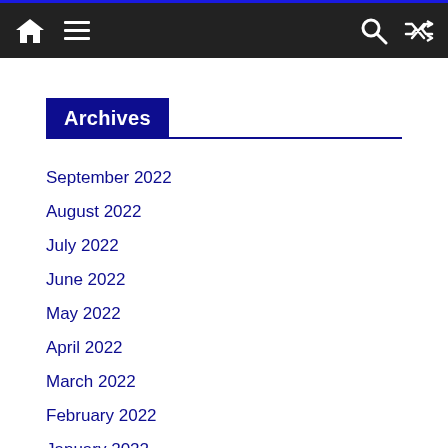Navigation bar with home, menu, search, and shuffle icons
Archives
September 2022
August 2022
July 2022
June 2022
May 2022
April 2022
March 2022
February 2022
January 2022
December 2021